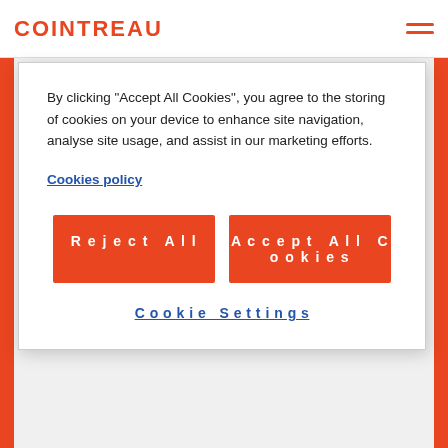COINTREAU
By clicking “Accept All Cookies”, you agree to the storing of cookies on your device to enhance site navigation, analyse site usage, and assist in our marketing efforts.
Cookies policy
Reject All
Accept All Cookies
Cookie Settings
Last updated August 2019
DEAR USERS,
BEFORE ACCESSING THIS SITE, PLEASE READ THE FOLLOWING TERMS AND CONDITIONS CAREFULLY